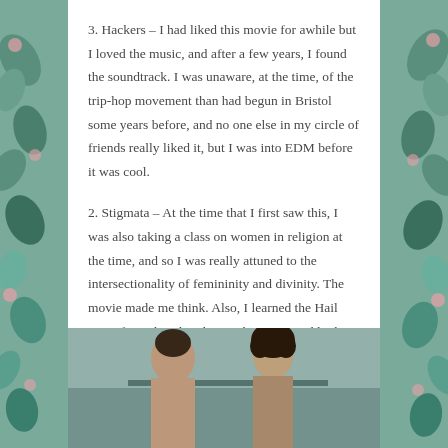3. Hackers – I had liked this movie for awhile but I loved the music, and after a few years, I found the soundtrack. I was unaware, at the time, of the trip-hop movement than had begun in Bristol some years before, and no one else in my circle of friends really liked it, but I was into EDM before it was cool.
2. Stigmata – At the time that I first saw this, I was also taking a class on women in religion at the time, and so I was really attuned to the intersectionality of femininity and divinity. The movie made me think. Also, I learned the Hail Mary from the Chumbawumba song. And look at these two; both hot in this movie.
[Figure (photo): A film still showing two people from the movie Stigmata, partially visible at the bottom of the page.]